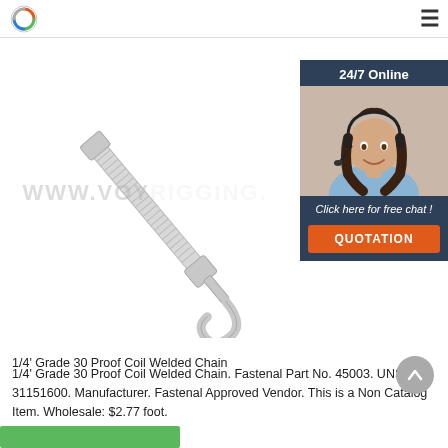[Figure (logo): Circular logo icon with orange and green colors]
[Figure (photo): Photo of a 1/4 inch Grade 30 Proof Coil Welded Chain hook and turnbuckle hardware on white background with watermark www.voyrigging.]
[Figure (photo): 24/7 Online chat advertisement box with photo of female customer service representative wearing headset. Text: 24/7 Online, Click here for free chat!, QUOTATION button.]
1/4' Grade 30 Proof Coil Welded Chain
1/4' Grade 30 Proof Coil Welded Chain. Fastenal Part No. 45003. UNSPSC. 31151600. Manufacturer. Fastenal Approved Vendor. This is a Non Catalog Item. Wholesale: $2.77 foot.